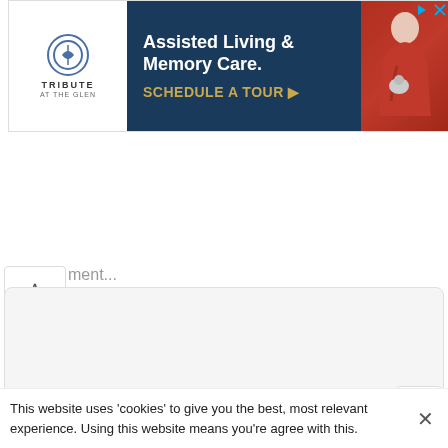[Figure (screenshot): Advertisement banner for Tribute At The Glen - Assisted Living & Memory Care with Schedule A Tour call to action]
[Figure (screenshot): Comment text area input field with collapse chevron and placeholder text 'ment...']
[Figure (screenshot): Blue Submit button with rounded corners]
[Figure (screenshot): Two map thumbnail cards side by side with location pin icons on grey background]
This website uses 'cookies' to give you the best, most relevant experience. Using this website means you're agree with this.